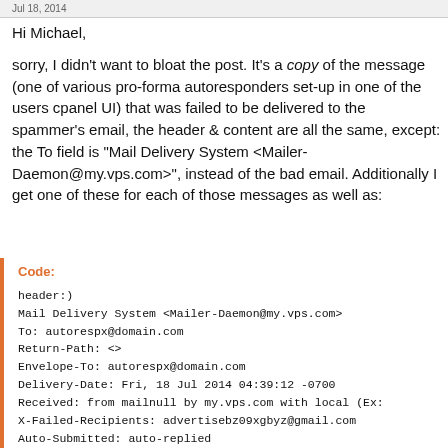Jul 18, 2014
Hi Michael,
sorry, I didn't want to bloat the post. It's a copy of the message (one of various pro-forma autoresponders set-up in one of the users cpanel UI) that was failed to be delivered to the spammer's email, the header & content are all the same, except: the To field is "Mail Delivery System <Mailer-Daemon@my.vps.com>", instead of the bad email. Additionally I get one of these for each of those messages as well as:
Code:
header:)
Mail Delivery System <Mailer-Daemon@my.vps.com>
To: autorespx@domain.com
Return-Path: <>
Envelope-To: autorespx@domain.com
Delivery-Date: Fri, 18 Jul 2014 04:39:12 -0700
Received: from mailnull by my.vps.com with local (Ex:
X-Failed-Recipients: advertisebz09xgbyz@gmail.com
Auto-Submitted: auto-replied
Message-Id: <Eabcd1X86VM-0004wd-Mj@my.vps.com>
Mail delivery failed: returning message to sender